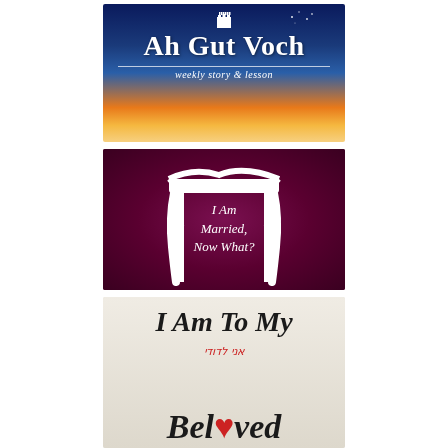[Figure (illustration): Ah Gut Voch logo - white serif bold text on a twilight sky background with gradient from dark blue to orange/yellow at horizon, with a small castle icon above the text and a horizontal line separating the subtitle 'weekly story & lesson' in italic white text]
[Figure (illustration): Dark maroon/purple background with a white silhouette of a chuppah (Jewish wedding canopy) with draped fabric. Text in white reads 'I Am Married, Now What?']
[Figure (illustration): Light parchment/beige background with large black italic serif text reading 'I Am To My Beloved' with Hebrew text 'אני לדודי' in red and a red heart replacing the letter 'o' in Beloved]